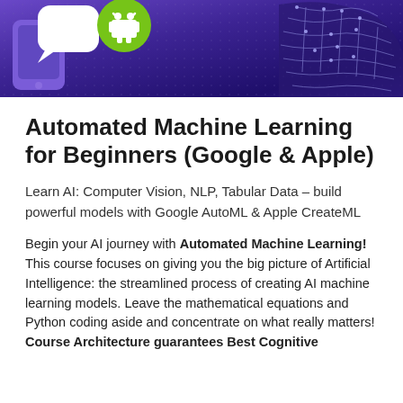[Figure (illustration): Banner image with purple/blue gradient background showing mobile phone icons, a white speech bubble, a green Android robot icon, and a stylized AI brain/neural network outline on the right side]
Automated Machine Learning for Beginners (Google & Apple)
Learn AI: Computer Vision, NLP, Tabular Data – build powerful models with Google AutoML & Apple CreateML
Begin your AI journey with Automated Machine Learning! This course focuses on giving you the big picture of Artificial Intelligence: the streamlined process of creating AI machine learning models. Leave the mathematical equations and Python coding aside and concentrate on what really matters! Course Architecture guarantees Best Cognitive